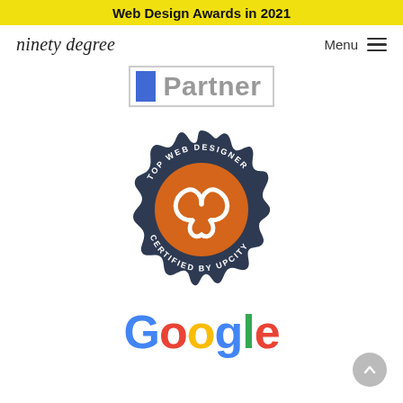Web Design Awards in 2021
[Figure (logo): ninety degree logo in script font]
Menu
[Figure (logo): Partial partner badge — blue square with word Partner in gray]
[Figure (logo): Top Web Designer Certified by UpCity badge — dark navy scalloped circle with orange pretzel/heart logo in center]
[Figure (logo): Google logo in multicolor letters: G-o-o-g-l-e]